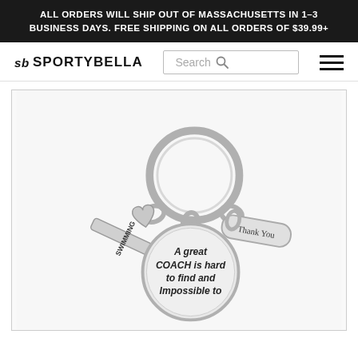ALL ORDERS WILL SHIP OUT OF MASSACHUSETTS IN 1-3 BUSINESS DAYS. FREE SHIPPING ON ALL ORDERS OF $39.99+
[Figure (logo): SportyBella logo with 'sb' initials and brand name SPORTYBELLA]
[Figure (photo): Silver keychain with multiple charms: a 'SWIMMING' bar charm, a heart charm, a 'Thank You' tag charm, and a round coin charm engraved with 'A great COACH is hard to find and Impossible to' (text continues off page)]